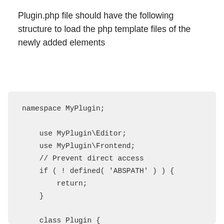Plugin.php file should have the following structure to load the php template files of the newly added elements
namespace MyPlugin;

    use MyPlugin\Editor;
    use MyPlugin\Frontend;
    // Prevent direct access
    if ( ! defined( 'ABSPATH' ) ) {
        return;
    }

    class Plugin {